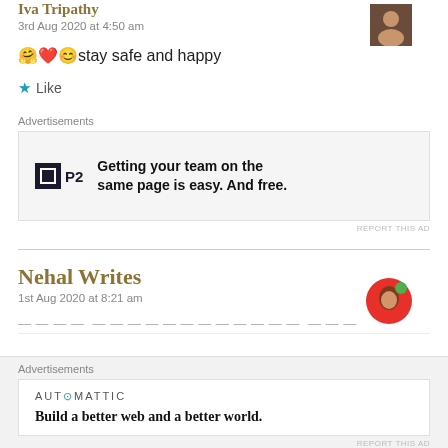Iva Tripathy
3rd Aug 2020 at 4:50 am
🤗❤️😊stay safe and happy
★ Like
Advertisements
[Figure (other): P2 advertisement: Getting your team on the same page is easy. And free.]
REPORT THIS AD
Nehal Writes
1st Aug 2020 at 8:21 am
Advertisements
[Figure (other): Automattic advertisement: Build a better web and a better world.]
REPORT THIS AD